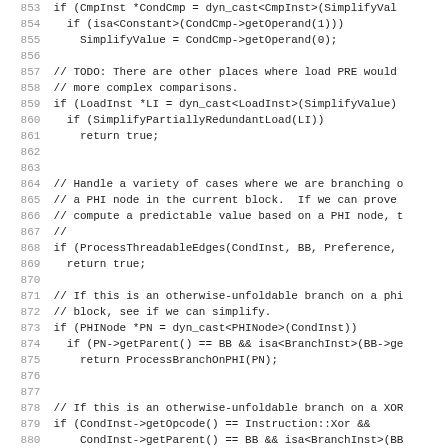[Figure (screenshot): Source code listing showing C++ code lines 853-885, with line numbers on the left in gray and code on the right in monospace font. The code handles branch simplification including PHINode, XOR, and load PRE cases.]